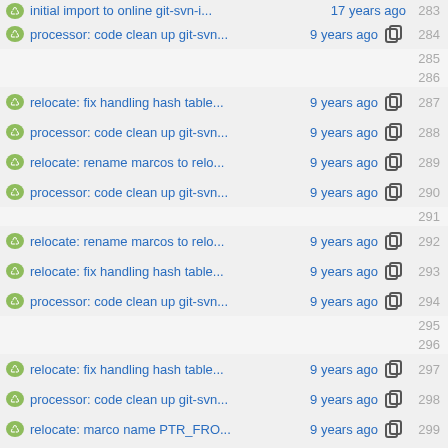initial import to online git-svn-i... 17 years ago 283
processor: code clean up git-svn... 9 years ago 284
relocate: fix handling hash table... 9 years ago 287
processor: code clean up git-svn... 9 years ago 288
relocate: rename marcos to relo... 9 years ago 289
processor: code clean up git-svn... 9 years ago 290
relocate: rename marcos to relo... 9 years ago 292
relocate: fix handling hash table... 9 years ago 293
processor: code clean up git-svn... 9 years ago 294
relocate: fix handling hash table... 9 years ago 297
processor: code clean up git-svn... 9 years ago 298
relocate: marco name PTR_FRO... 9 years ago 299
relocate: rename marcos to relo... 9 years ago 300
relocate: update dst/src to comp...9 years ago 301
processor: code clean up git-svn... 9 years ago 302